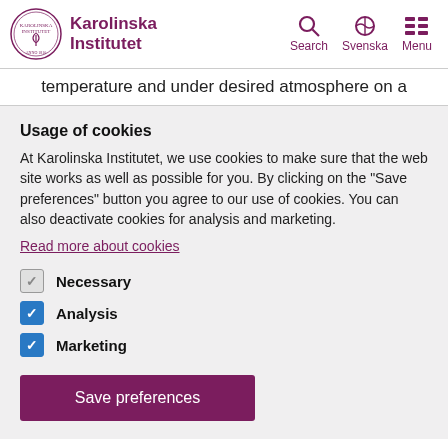Karolinska Institutet — Search | Svenska | Menu
temperature and under desired atmosphere on a
Usage of cookies
At Karolinska Institutet, we use cookies to make sure that the web site works as well as possible for you. By clicking on the "Save preferences" button you agree to our use of cookies. You can also deactivate cookies for analysis and marketing.
Read more about cookies
Necessary
Analysis
Marketing
Save preferences